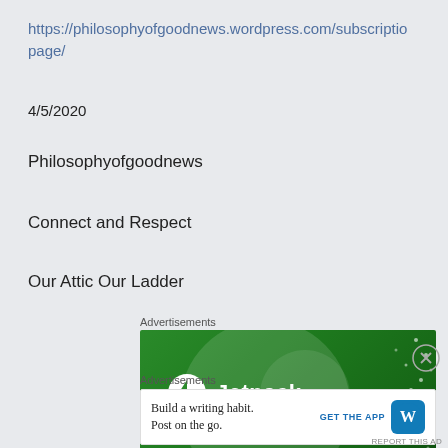https://philosophyofgoodnews.wordpress.com/subscription-page/
4/5/2020
Philosophyofgoodnews
Connect and Respect
Our Attic Our Ladder
Advertisements
[Figure (other): Jetpack advertisement banner with green gradient background and Jetpack logo]
Advertisements
[Figure (other): WordPress app advertisement: Build a writing habit. Post on the go. GET THE APP with WordPress icon]